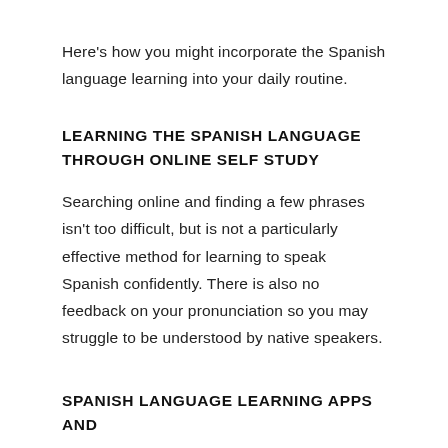Here's how you might incorporate the Spanish language learning into your daily routine.
LEARNING THE SPANISH LANGUAGE THROUGH ONLINE SELF STUDY
Searching online and finding a few phrases isn't too difficult, but is not a particularly effective method for learning to speak Spanish confidently. There is also no feedback on your pronunciation so you may struggle to be understood by native speakers.
SPANISH LANGUAGE LEARNING APPS AND